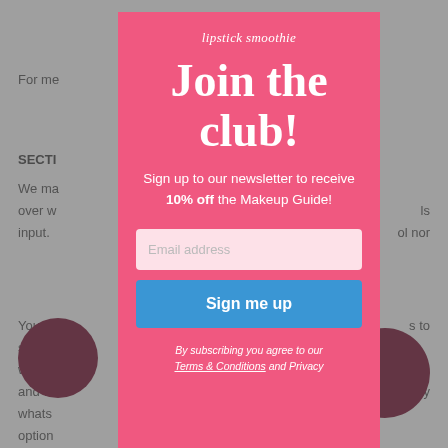For mo
SECTI
We ma over w input.
You ac such t warran and w whats option
Any us is enti
third-p
[Figure (screenshot): Newsletter signup modal popup overlay on a website page. The modal has a pink/coral background with white text reading 'lipstick smoothie' logo at top, large bold headline 'Join the club!', subtitle 'Sign up to our newsletter to receive 10% off the Makeup Guide!', an email address input field, a blue 'Sign me up' button, and fine print 'By subscribing you agree to our Terms & Conditions and Privacy']